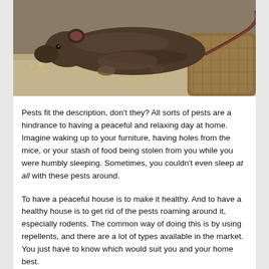[Figure (photo): Close-up photograph of a brown rat eating seeds/grains on a sandy/gravelly surface near a burlap sack]
Pests fit the description, don't they? All sorts of pests are a hindrance to having a peaceful and relaxing day at home. Imagine waking up to your furniture, having holes from the mice, or your stash of food being stolen from you while you were humbly sleeping. Sometimes, you couldn't even sleep at all with these pests around.
To have a peaceful house is to make it healthy. And to have a healthy house is to get rid of the pests roaming around it, especially rodents. The common way of doing this is by using repellents, and there are a lot of types available in the market. You just have to know which would suit you and your home best.
Below is a list of some of the most used rodent repellents and how they work to get rid of pests so that you'd get to